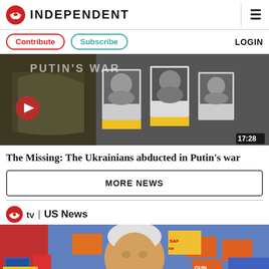INDEPENDENT
Contribute | Subscribe | LOGIN
[Figure (screenshot): Video thumbnail showing protesters holding black-and-white photographs with text 'Putin's War' overlay. Play button visible at left, duration 17:28 at bottom right.]
The Missing: The Ukrainians abducted in Putin's war
MORE NEWS
tv | US News
[Figure (photo): Video thumbnail showing Joe Biden speaking at a podium with crowd holding signs reading 'SAF[E] AMER[ICA]' in the background. Orange and blue signs visible.]